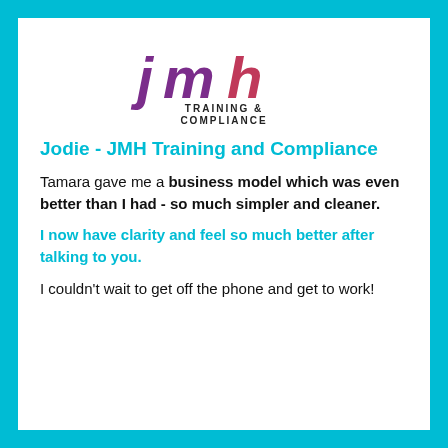[Figure (logo): JMH Training & Compliance logo with stylized purple/magenta jmh letters and dark text below]
Jodie - JMH Training and Compliance
Tamara gave me a business model which was even better than I had - so much simpler and cleaner.
I now have clarity and feel so much better after talking to you.
I couldn't wait to get off the phone and get to work!